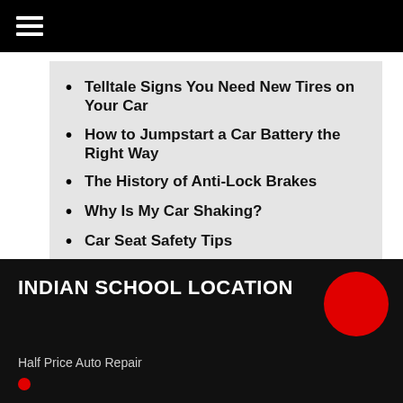Telltale Signs You Need New Tires on Your Car
How to Jumpstart a Car Battery the Right Way
The History of Anti-Lock Brakes
Why Is My Car Shaking?
Car Seat Safety Tips
INDIAN SCHOOL LOCATION
Half Price Auto Repair